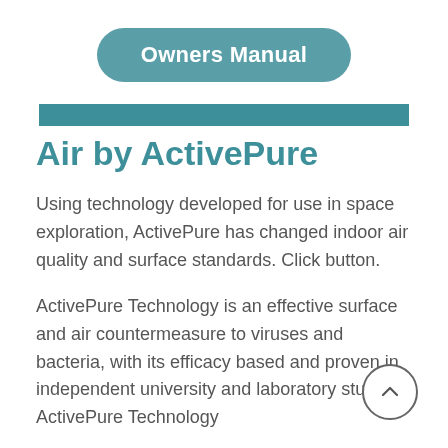Owners Manual
Air by ActivePure
Using technology developed for use in space exploration, ActivePure has changed indoor air quality and surface standards. Click button.
ActivePure Technology is an effective surface and air countermeasure to viruses and bacteria, with its efficacy based and proven in independent university and laboratory studies. ActivePure Technology